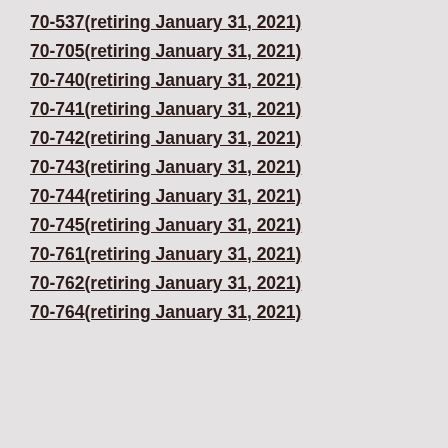70-537(retiring January 31, 2021)
70-705(retiring January 31, 2021)
70-740(retiring January 31, 2021)
70-741(retiring January 31, 2021)
70-742(retiring January 31, 2021)
70-743(retiring January 31, 2021)
70-744(retiring January 31, 2021)
70-745(retiring January 31, 2021)
70-761(retiring January 31, 2021)
70-762(retiring January 31, 2021)
70-764(retiring January 31, 2021)